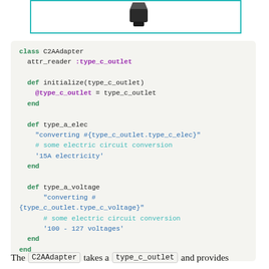[Figure (screenshot): Top portion of a framed image with teal/cyan border, showing a partial dark object (likely an adapter/plug) on white background]
class C2AAdapter
  attr_reader :type_c_outlet

  def initialize(type_c_outlet)
    @type_c_outlet = type_c_outlet
  end

  def type_a_elec
    "converting #{type_c_outlet.type_c_elec}"
    # some electric circuit conversion
    '15A electricity'
  end

  def type_a_voltage
      "converting #{type_c_outlet.type_c_voltage}"
      # some electric circuit conversion
      '100 - 127 voltages'
  end
end
The C2AAdapter takes a type_c_outlet and provides